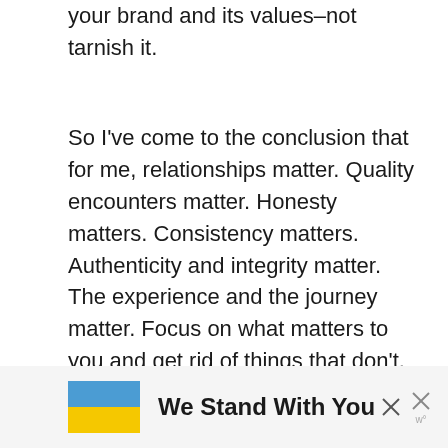your brand and its values–not tarnish it.
So I've come to the conclusion that for me, relationships matter. Quality encounters matter. Honesty matters. Consistency matters. Authenticity and integrity matter. The experience and the journey matter. Focus on what matters to you and get rid of things that don't. Taking the clutter out of your mind and your life frees up space for more of what you value.
[Figure (infographic): Ad banner with Ukrainian flag (blue and yellow) and text 'We Stand With You' with close icons]